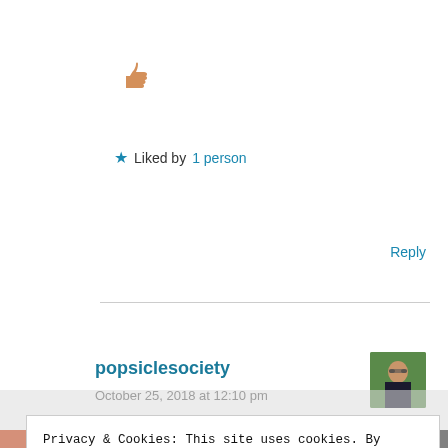[Figure (illustration): Thumbs up emoji/icon in peach/skin tone color]
★ Liked by 1 person
Reply
popsiclesociety
October 25, 2018 at 12:10 pm
[Figure (photo): Small avatar photo of a person with sunglasses outdoors, green background]
Privacy & Cookies: This site uses cookies. By continuing to use this website, you agree to their use.
To find out more, including how to control cookies, see here: Cookie Policy
Close and accept